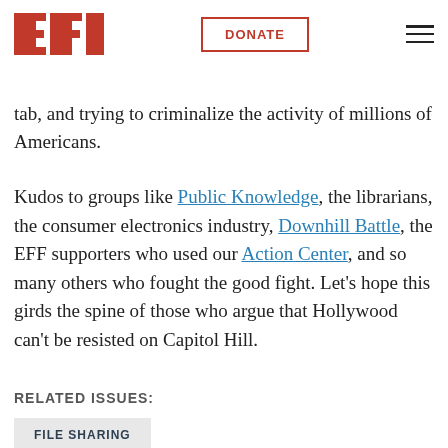EFF | DONATE
tab, and trying to criminalize the activity of millions of Americans.
Kudos to groups like Public Knowledge, the librarians, the consumer electronics industry, Downhill Battle, the EFF supporters who used our Action Center, and so many others who fought the good fight. Let's hope this girds the spine of those who argue that Hollywood can't be resisted on Capitol Hill.
RELATED ISSUES:
FILE SHARING